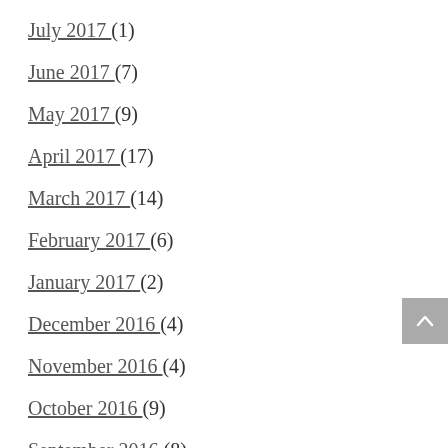July 2017 (1)
June 2017 (7)
May 2017 (9)
April 2017 (17)
March 2017 (14)
February 2017 (6)
January 2017 (2)
December 2016 (4)
November 2016 (4)
October 2016 (9)
September 2016 (8)